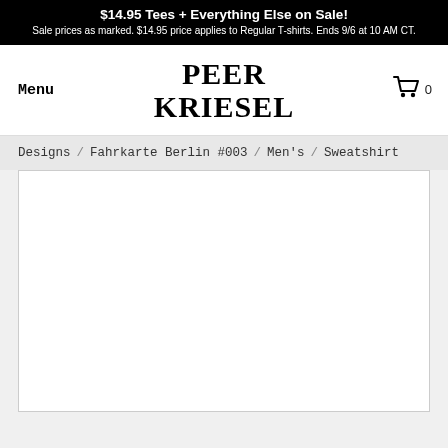$14.95 Tees + Everything Else on Sale! Sale prices as marked. $14.95 price applies to Regular T-shirts. Ends 9/6 at 10 AM CT.
PEER KRIESEL
Menu
0
Designs / Fahrkarte Berlin #003 / Men's / Sweatshirt
[Figure (other): White product image area for sweatshirt]